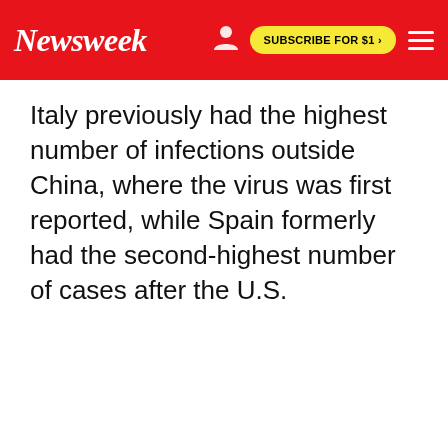Newsweek | SUBSCRIBE FOR $1 >
Italy previously had the highest number of infections outside China, where the virus was first reported, while Spain formerly had the second-highest number of cases after the U.S.